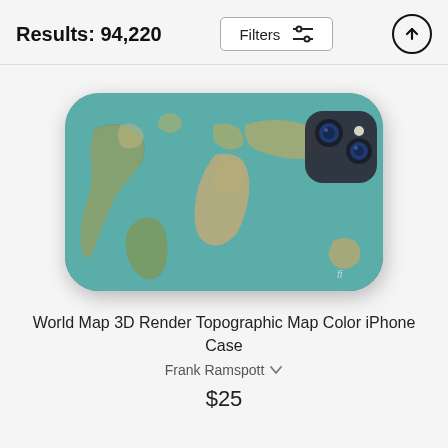Results: 94,220
[Figure (screenshot): UI header bar with Results count, Filters button with sliders icon, and upload/up arrow circle button]
[Figure (photo): iPhone case with 3D rendered topographic world map design in teal/green/tan colors, showing continents in relief, with dark camera module visible in top right corner]
World Map 3D Render Topographic Map Color iPhone Case
Frank Ramspott
$25